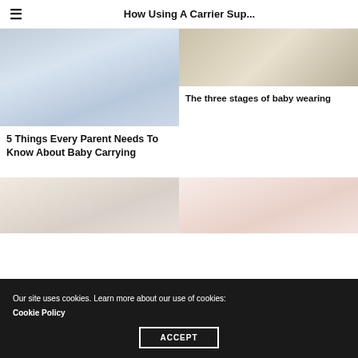How Using A Carrier Sup...
[Figure (photo): Blurred photo of person wearing baby carrier, light blue/grey tones]
[Figure (photo): Blurred photo, light beige/tan tones, partial view]
The three stages of baby wearing
5 Things Every Parent Needs To Know About Baby Carrying
[Figure (photo): Blurred photo of person, warm beige tones]
[Figure (photo): Blurred photo, warm pink/peach tones]
Our site uses cookies. Learn more about our use of cookies: Cookie Policy
ACCEPT